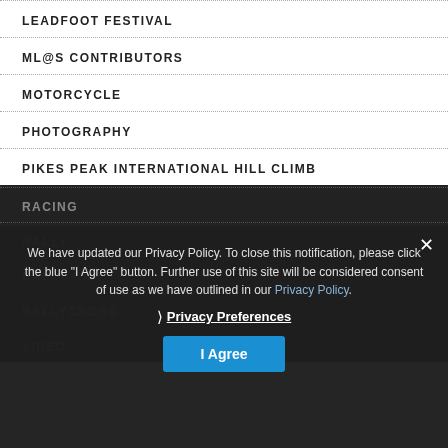LEADFOOT FESTIVAL
ML@S CONTRIBUTORS
MOTORCYCLE
PHOTOGRAPHY
PIKES PEAK INTERNATIONAL HILL CLIMB
RACING
RALLY
RALLY CAR
RALLYCROSS
VIDEO
We have updated our Privacy Policy. To close this notification, please click the blue "I Agree" button. Further use of this site will be considered consent of use as we have outlined in our Privacy Policy.
Privacy Preferences
I Agree